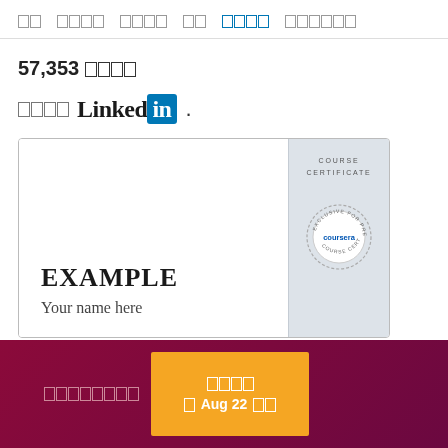□□  □□□□  □□□□  □□  □□□□  □□□□□□
57,353 □□□□
□□□□ LinkedIn
[Figure (illustration): Coursera course certificate example showing 'EXAMPLE / Your name here' on left side and 'COURSE CERTIFICATE' with Coursera seal on right side]
□□□□□□□□  □□□□ □ Aug 22 □□